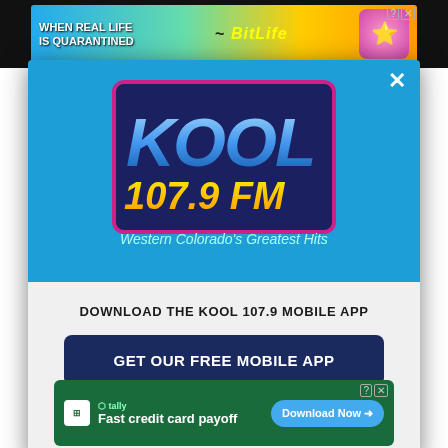[Figure (screenshot): Top advertisement banner showing BitLife app ad with colorful rainbow background and 'WHEN REAL LIFE IS QUARANTINED' text]
[Figure (logo): KOOL 107.9 FM radio station logo with blue 3D letters and yellow '107.9 FM' text, tagline 'Western Colorado's Greatest Hits' on blue background with close button]
DOWNLOAD THE KOOL 107.9 MOBILE APP
GET OUR FREE MOBILE APP
Also listen on: amazon alexa
[Figure (screenshot): Bottom advertisement banner for Tally app - 'Fast credit card payoff' with Download Now button]